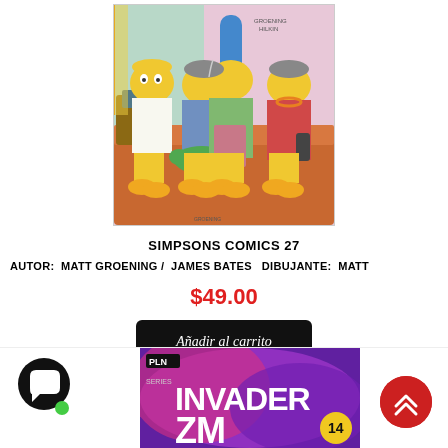[Figure (illustration): Cover art of Simpsons Comics 27 showing Homer, Patty, Marge, and Selma sitting on a couch]
SIMPSONS COMICS 27
AUTOR:  MATT GROENING /  JAMES BATES   DIBUJANTE:  MATT
$49.00
Añadir al carrito
[Figure (screenshot): Partial view of Invader Zim comic book cover with pink/purple background]
[Figure (other): Chat bubble icon with green dot]
[Figure (other): Red scroll-to-top button with chevron arrows]